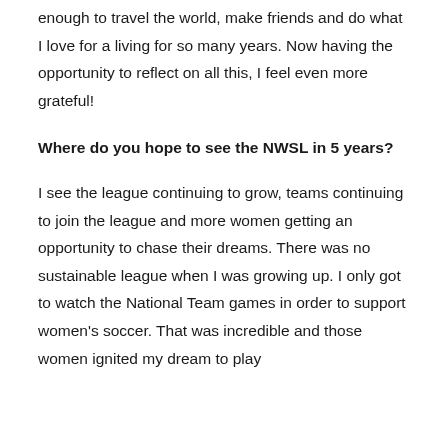enough to travel the world, make friends and do what I love for a living for so many years. Now having the opportunity to reflect on all this, I feel even more grateful!
Where do you hope to see the NWSL in 5 years?
I see the league continuing to grow, teams continuing to join the league and more women getting an opportunity to chase their dreams. There was no sustainable league when I was growing up. I only got to watch the National Team games in order to support women's soccer. That was incredible and those women ignited my dream to play